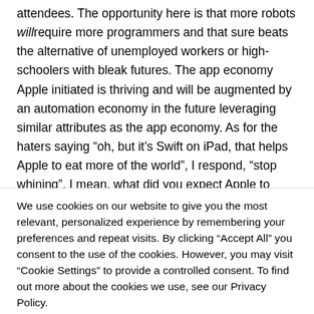attendees. The opportunity here is that more robots will require more programmers and that sure beats the alternative of unemployed workers or high-schoolers with bleak futures. The app economy Apple initiated is thriving and will be augmented by an automation economy in the future leveraging similar attributes as the app economy. As for the haters saying “oh, but it’s Swift on iPad, that helps Apple to eat more of the world”, I respond, “stop whining”. I mean, what did you expect Apple to drive C# programming on a
We use cookies on our website to give you the most relevant, personalized experience by remembering your preferences and repeat visits. By clicking “Accept All” you consent to the use of the cookies. However, you may visit "Cookie Settings" to provide a controlled consent. To find out more about the cookies we use, see our Privacy Policy.